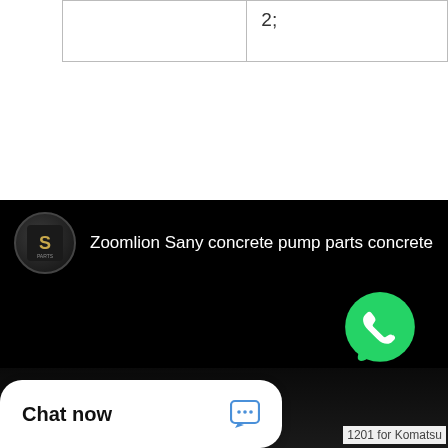|  | 2; |
[Figure (screenshot): YouTube/video channel thumbnail for 'Zoomlion Sany concrete pump parts concrete' with a dark background, channel icon with stylized S logo, and a WhatsApp icon with contact text overlay]
Chat now
1201 for Komatsu